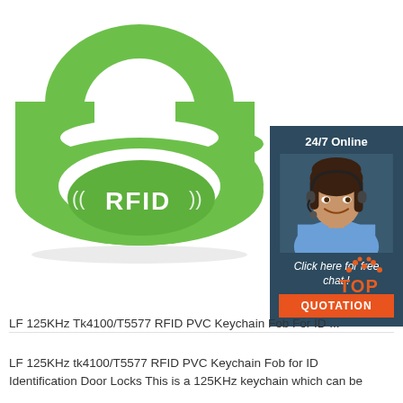[Figure (photo): Green silicone RFID wristband with white RFID logo text and signal waves printed on it, shown on white background. Overlaid in bottom-right corner is a customer service chat widget showing a woman with headset, '24/7 Online' text, 'Click here for free chat!' text, and an orange QUOTATION button.]
[Figure (logo): Red and orange 'TOP' logo with dotted arc above the text]
LF 125KHz Tk4100/T5577 RFID PVC Keychain Fob For ID ...
LF 125KHz tk4100/T5577 RFID PVC Keychain Fob for ID Identification Door Locks This is a 125KHz keychain which can be